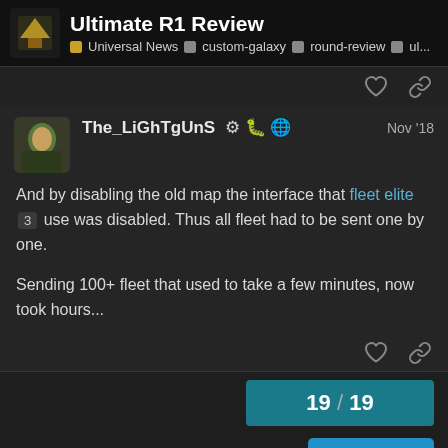Ultimate R1 Review — Universal News · custom-galaxy · round-review · ul...
The_LiGhTgUnS ⚙ 🐛 🌐  Nov '18
And by disabling the old map the interface that fleet elite 3 use was disabled. Thus all fleet had to be sent one by one.

Sending 100+ fleet that used to take a few minutes, now took hours...
19 / 19
Reply
Suggested Topics